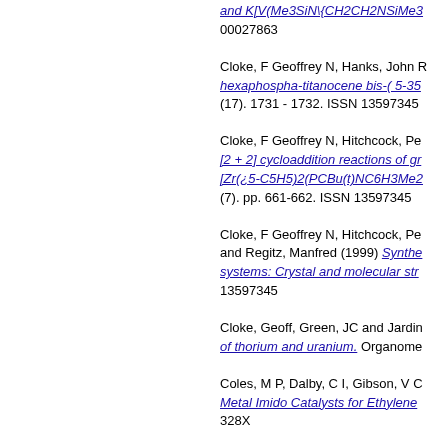and K[V(Me3SiN{CH2CH2NSiMe3... 00027863
Cloke, F Geoffrey N, Hanks, John R... hexaphospha-titanocene bis-(5-35... (17). 1731 - 1732. ISSN 13597345
Cloke, F Geoffrey N, Hitchcock, Pe... [2 + 2] cycloaddition reactions of gr... [Zr(z5-C5H5)2(PCBu(t)NC6H3Me2... (7). pp. 661-662. ISSN 13597345
Cloke, F Geoffrey N, Hitchcock, Pe... and Regitz, Manfred (1999) Synthe... systems: Crystal and molecular str... 13597345
Cloke, Geoff, Green, JC and Jardin... of thorium and uranium. Organome...
Coles, M P, Dalby, C I, Gibson, V C... Metal Imido Catalysts for Ethylene... 328X
Cox, Hazel, Johnston, Roy L and M... Journal of Solid State Chemistry, 1...